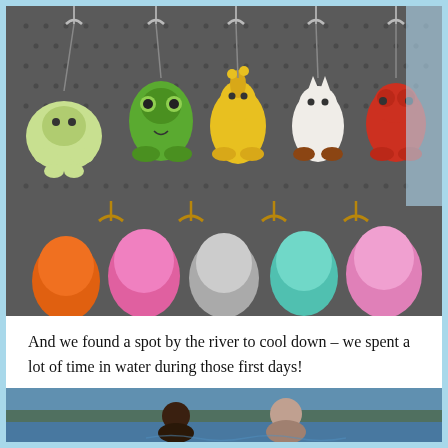[Figure (photo): Colorful crocheted animal keychains (turtle, frog, giraffe, cat, bear/doll) hanging on a pegboard display, with fluffy pom-pom keychains (orange, pink, gray, teal, pink) in the lower row]
And we found a spot by the river to cool down – we spent a lot of time in water during those first days!
[Figure (photo): People in water near a river, partially visible at the bottom of the page]